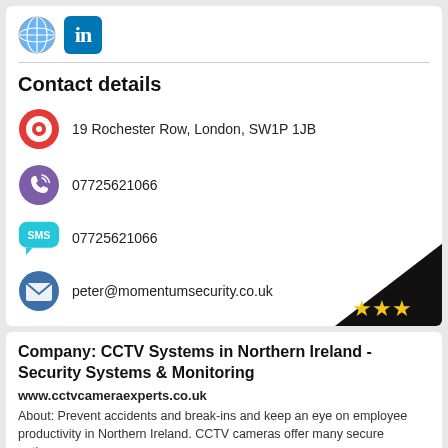[Figure (other): Globe and LinkedIn icons in top card header]
Contact details
19 Rochester Row, London, SW1P 1JB
07725621066 (phone)
07725621066 (SMS)
peter@momentumsecurity.co.uk
Company: CCTV Systems in Northern Ireland - Security Systems & Monitoring
www.cctvcameraexperts.co.uk
About: Prevent accidents and break-ins and keep an eye on employee productivity in Northern Ireland. CCTV cameras offer many secure options.
Company: Security Company Warrenpoint